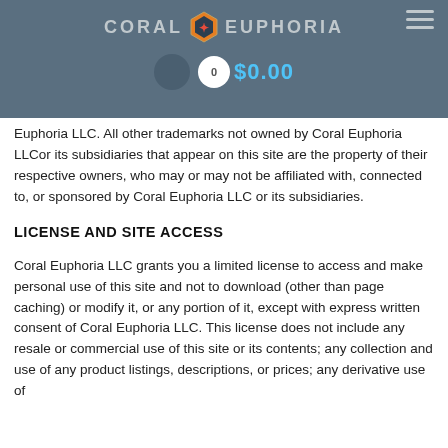CORAL EUPHORIA | 0 | $0.00
Euphoria LLC. All other trademarks not owned by Coral Euphoria LLCor its subsidiaries that appear on this site are the property of their respective owners, who may or may not be affiliated with, connected to, or sponsored by Coral Euphoria LLC or its subsidiaries.
LICENSE AND SITE ACCESS
Coral Euphoria LLC grants you a limited license to access and make personal use of this site and not to download (other than page caching) or modify it, or any portion of it, except with express written consent of Coral Euphoria LLC. This license does not include any resale or commercial use of this site or its contents; any collection and use of any product listings, descriptions, or prices; any derivative use of